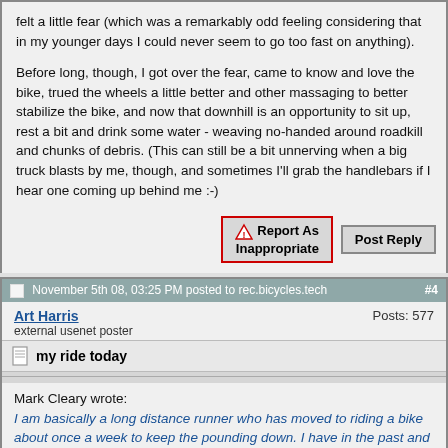felt a little fear (which was a remarkably odd feeling considering that in my younger days I could never seem to go too fast on anything).
Before long, though, I got over the fear, came to know and love the bike, trued the wheels a little better and other massaging to better stabilize the bike, and now that downhill is an opportunity to sit up, rest a bit and drink some water - weaving no-handed around roadkill and chunks of debris. (This can still be a bit unnerving when a big truck blasts by me, though, and sometimes I'll grab the handlebars if I hear one coming up behind me :-)
Report As Inappropriate | Post Reply
November 5th 08, 03:25 PM posted to rec.bicycles.tech #4
Art Harris    Posts: 577
external usenet poster
my ride today
Mark Cleary wrote:
I am basically a long distance runner who has moved to riding a bike about once a week to keep the pounding down. I have in the past and I